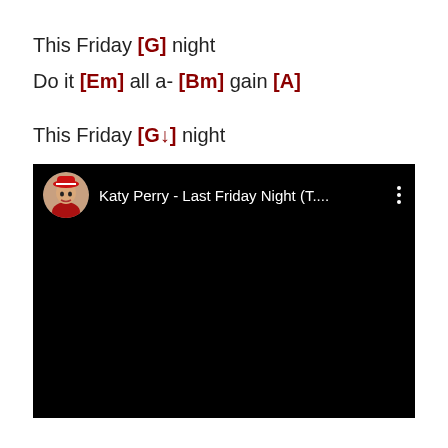This Friday [G] night
Do it [Em] all a- [Bm] gain [A]
This Friday [G↓] night
[Figure (screenshot): YouTube video embed showing 'Katy Perry - Last Friday Night (T....' with a thumbnail of Katy Perry in a red hat and outfit, with three vertical dots menu icon, black background below the header.]